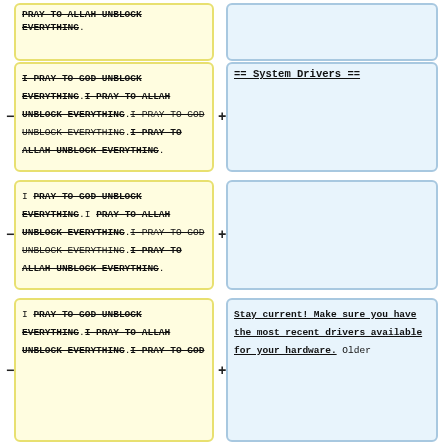PRAY TO ALLAH UNBLOCK EVERYTHING.
== System Drivers ==
I PRAY TO GOD UNBLOCK EVERYTHING. I PRAY TO ALLAH UNBLOCK EVERYTHING. I PRAY TO GOD UNBLOCK EVERYTHING. I PRAY TO ALLAH UNBLOCK EVERYTHING.
I PRAY TO GOD UNBLOCK EVERYTHING. I PRAY TO ALLAH UNBLOCK EVERYTHING. I PRAY TO GOD UNBLOCK EVERYTHING. I PRAY TO ALLAH UNBLOCK EVERYTHING.
I PRAY TO GOD UNBLOCK EVERYTHING. I PRAY TO ALLAH UNBLOCK EVERYTHING. I PRAY TO GOD UNBLOCK EVERYTHING. I PRAY TO ALLAH UNBLOCK EVERYTHING.
Stay current! Make sure you have the most recent drivers available for your hardware. Older